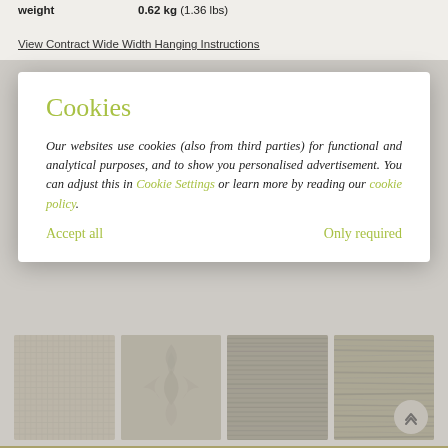Weight   0.62 kg (1.36 lbs)
View Contract Wide Width Hanging Instructions
Cookies
Our websites use cookies (also from third parties) for functional and analytical purposes, and to show you personalised advertisement. You can adjust this in Cookie Settings or learn more by reading our cookie policy.
Accept all
Only required
[Figure (illustration): Four textile/wallpaper texture thumbnails shown in a row at the bottom of the page]